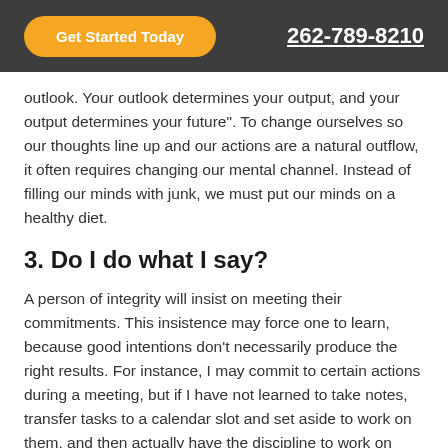Get Started Today | 262-789-8210
outlook. Your outlook determines your output, and your output determines your future". To change ourselves so our thoughts line up and our actions are a natural outflow, it often requires changing our mental channel. Instead of filling our minds with junk, we must put our minds on a healthy diet.
3. Do I do what I say?
A person of integrity will insist on meeting their commitments. This insistence may force one to learn, because good intentions don't necessarily produce the right results. For instance, I may commit to certain actions during a meeting, but if I have not learned to take notes, transfer tasks to a calendar slot and set aside to work on them, and then actually have the discipline to work on them, my integrity is in question. Interestingly enough, if you are committed to doing what you say you will, it changes